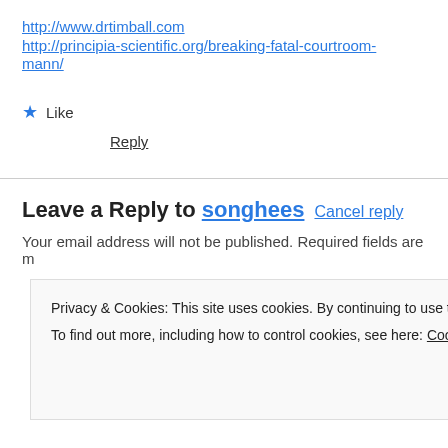http://www.drtimball.com
http://principia-scientific.org/breaking-fatal-courtroom-mann/
★ Like
Reply
Leave a Reply to songhees Cancel reply
Your email address will not be published. Required fields are m
Privacy & Cookies: This site uses cookies. By continuing to use this website, you agree to their use.
To find out more, including how to control cookies, see here: Cookie Policy
Close and accept